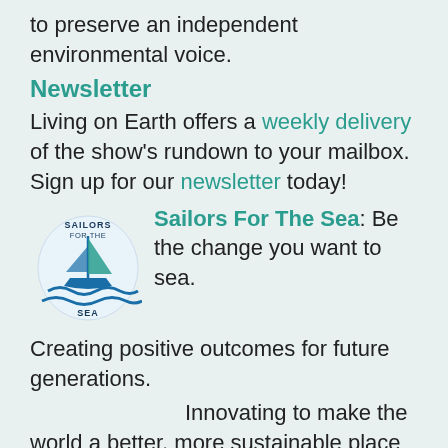to preserve an independent environmental voice.
Newsletter
Living on Earth offers a weekly delivery of the show's rundown to your mailbox. Sign up for our newsletter today!
[Figure (logo): Sailors For The Sea logo — circular emblem with sailboat and waves, text SAILORS FOR THE SEA]
Sailors For The Sea: Be the change you want to sea.
Creating positive outcomes for future generations.
Innovating to make the world a better, more sustainable place to live. Listen to the race to 9 billion
The Grantham Foundation for the Protection of the Environment: Committed to protecting